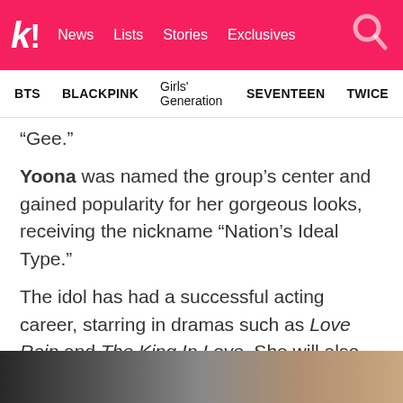k! News Lists Stories Exclusives
BTS   BLACKPINK   Girls' Generation   SEVENTEEN   TWICE
“Gee.”
Yoona was named the group’s center and gained popularity for her gorgeous looks, receiving the nickname “Nation’s Ideal Type.”
The idol has had a successful acting career, starring in dramas such as Love Rain and The King In Love. She will also star in King The Land with 2PM’s Junho, set to be released this year.
[Figure (photo): Dark grey and beige gradient photo strip at the bottom of the page, partially showing what appears to be a background or set.]